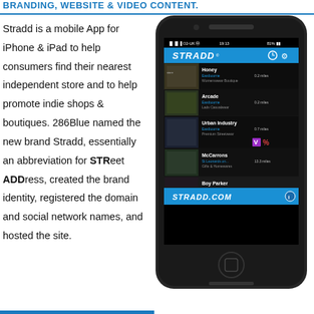BRANDING, WEBSITE & VIDEO CONTENT.
Stradd is a mobile App for iPhone & iPad to help consumers find their nearest independent store and to help promote indie shops & boutiques. 286Blue named the new brand Stradd, essentially an abbreviation for STReet ADDress, created the brand identity, registered the domain and social network names, and hosted the site.
[Figure (screenshot): iPhone showing the Stradd mobile app with a list of nearby independent stores including Honey (Eastbourne, 0.2 miles, Womenswear Boutique), Arcade (Eastbourne, 0.2 miles, Lads Casualwear), Urban Industry (Eastbourne, 0.7 miles, Premium Streetwear), McCarrons (St Leonards on..., 13.3 miles, Gifts & Homewares), Boy Parker, and STRADD.COM footer bar.]